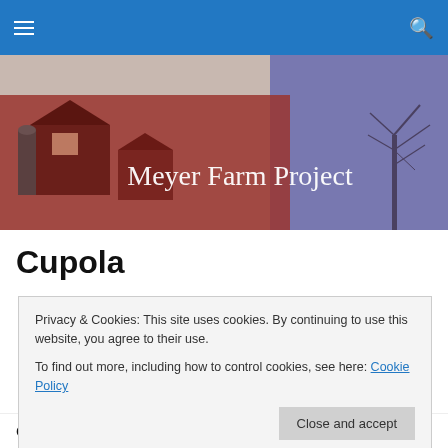Navigation bar with hamburger menu and search icon
[Figure (photo): Meyer Farm Project banner image showing a red barn and farmhouse on the left with trees on a blue-purple toned background on the right, text 'Meyer Farm Project' overlaid in white serif font]
Cupola
[Figure (photo): Partial view of a cupola photograph showing the letter M shape of the cupola structure in black against a light background]
Privacy & Cookies: This site uses cookies. By continuing to use this website, you agree to their use.
To find out more, including how to control cookies, see here: Cookie Policy
Close and accept
on the ridge of the barn a Cupalo (Kew-pa-loe). I hadn't